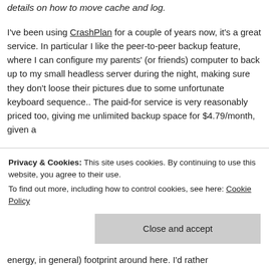details on how to move cache and log.
I've been using CrashPlan for a couple of years now, it's a great service. In particular I like the peer-to-peer backup feature, where I can configure my parents' (or friends) computer to back up to my small headless server during the night, making sure they don't loose their pictures due to some unfortunate keyboard sequence.. The paid-for service is very reasonably priced too, giving me unlimited backup space for $4.79/month, given a
Privacy & Cookies: This site uses cookies. By continuing to use this website, you agree to their use.
To find out more, including how to control cookies, see here: Cookie Policy
Close and accept
energy, in general) footprint around here. I'd rather